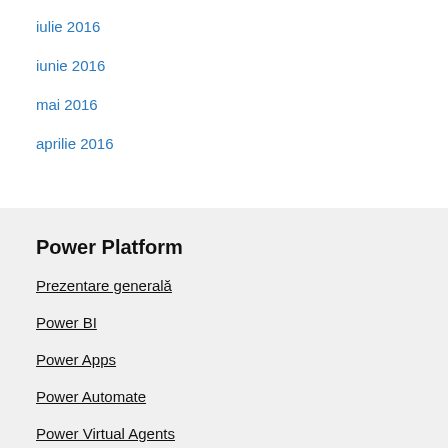iulie 2016
iunie 2016
mai 2016
aprilie 2016
Power Platform
Prezentare generală
Power BI
Power Apps
Power Automate
Power Virtual Agents